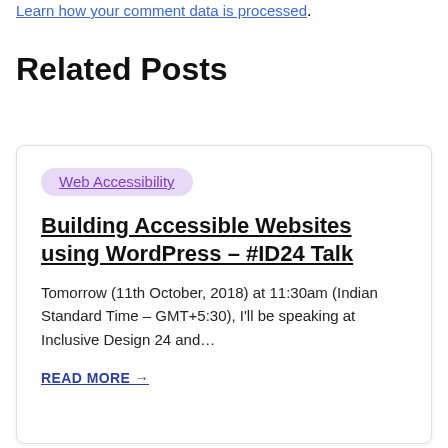Learn how your comment data is processed.
Related Posts
Web Accessibility
Building Accessible Websites using WordPress – #ID24 Talk
Tomorrow (11th October, 2018) at 11:30am (Indian Standard Time – GMT+5:30), I'll be speaking at Inclusive Design 24 and…
READ MORE →